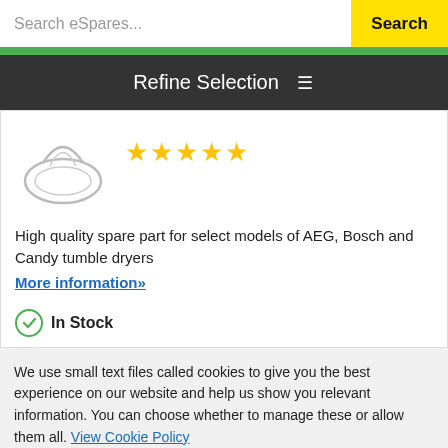Search eSpares...  Search
Refine Selection
[Figure (illustration): Product image of a spare part (belt or seal ring) shown in outline sketch style]
High quality spare part for select models of AEG, Bosch and Candy tumble dryers
More information»
In Stock
We use small text files called cookies to give you the best experience on our website and help us show you relevant information. You can choose whether to manage these or allow them all. View Cookie Policy
Manage Cookies
Allow All